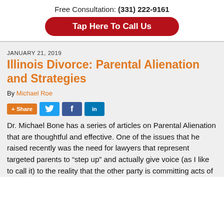Free Consultation: (331) 222-9161
Tap Here To Call Us
JANUARY 21, 2019
Illinois Divorce: Parental Alienation and Strategies
By Michael Roe
+ Share
Dr. Michael Bone has a series of articles on Parental Alienation that are thoughtful and effective. One of the issues that he raised recently was the need for lawyers that represent targeted parents to “step up” and actually give voice (as I like to call it) to the reality that the other party is committing acts of